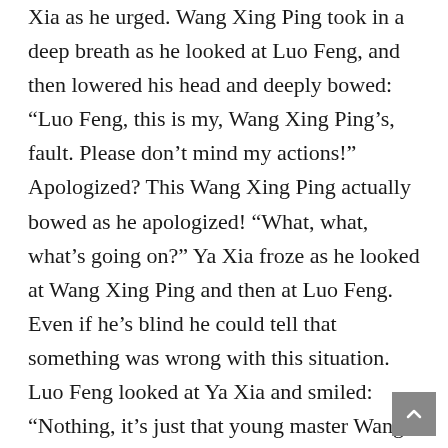Xia as he urged. Wang Xing Ping took in a deep breath as he looked at Luo Feng, and then lowered his head and deeply bowed: “Luo Feng, this is my, Wang Xing Ping’s, fault. Please don’t mind my actions!” Apologized? This Wang Xing Ping actually bowed as he apologized! “What, what, what’s going on?” Ya Xia froze as he looked at Wang Xing Ping and then at Luo Feng. Even if he’s blind he could tell that something was wrong with this situation. Luo Feng looked at Ya Xia and smiled: “Nothing, it’s just that young master Wang Xing Ping had a little misunderstanding. Well, I still have things to do, so I’ll be going first!” after saying that, Luo Feng turned around and walked away on the dark, concrete street. After Luo Feng left, Ya Xia whispered: “Brother Wang, what happened? You enraged this Luo Feng?” “I messed up big time” Wang Xing Ping straightened his back. “However, Ya Xia, thanks a lot for